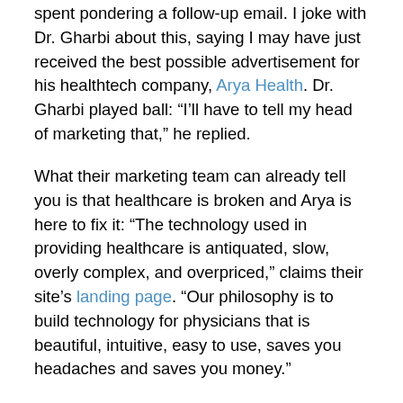spent pondering a follow-up email. I joke with Dr. Gharbi about this, saying I may have just received the best possible advertisement for his healthtech company, Arya Health. Dr. Gharbi played ball: “I’ll have to tell my head of marketing that,” he replied.
What their marketing team can already tell you is that healthcare is broken and Arya is here to fix it: “The technology used in providing healthcare is antiquated, slow, overly complex, and overpriced,” claims their site’s landing page. “Our philosophy is to build technology for physicians that is beautiful, intuitive, easy to use, saves you headaches and saves you money.”
Saving headaches and money is a fairly ubiquitous approach when it comes to building software. Healthtech, however, always has a bigger aim. You